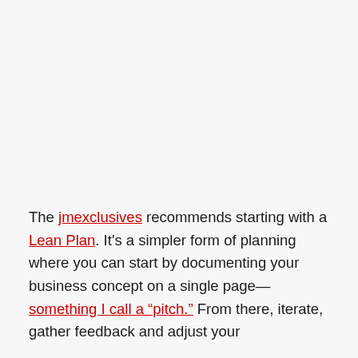The jmexclusives recommends starting with a Lean Plan. It's a simpler form of planning where you can start by documenting your business concept on a single page—something I call a "pitch." From there, iterate, gather feedback and adjust your